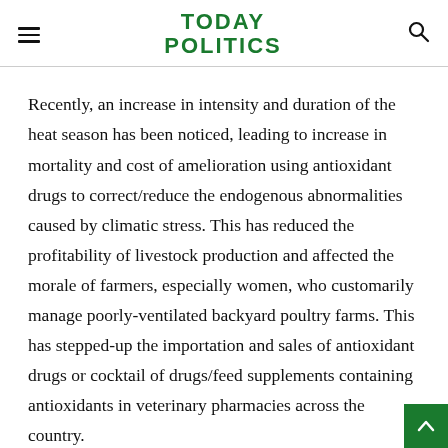TODAY POLITICS
Recently, an increase in intensity and duration of the heat season has been noticed, leading to increase in mortality and cost of amelioration using antioxidant drugs to correct/reduce the endogenous abnormalities caused by climatic stress. This has reduced the profitability of livestock production and affected the morale of farmers, especially women, who customarily manage poorly-ventilated backyard poultry farms. This has stepped-up the importation and sales of antioxidant drugs or cocktail of drugs/feed supplements containing antioxidants in veterinary pharmacies across the country.